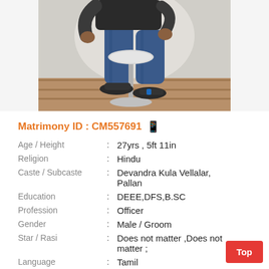[Figure (photo): A man seated on a bar stool chair, wearing blue jeans and sandals, photographed from mid-body down, against a white/grey background with wooden floor.]
Matrimony ID : CM557691
| Age / Height | : | 27yrs , 5ft 11in |
| Religion | : | Hindu |
| Caste / Subcaste | : | Devandra Kula Vellalar, Pallan |
| Education | : | DEEE,DFS,B.SC |
| Profession | : | Officer |
| Gender | : | Male / Groom |
| Star / Rasi | : | Does not matter ,Does not matter ; |
| Language | : | Tamil |